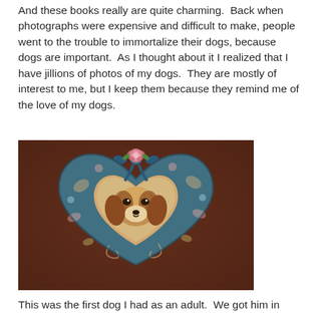And these books really are quite charming.  Back when photographs were expensive and difficult to make, people went to the trouble to immortalize their dogs, because dogs are important.  As I thought about it I realized that I have jillions of photos of my dogs.  They are mostly of interest to me, but I keep them because they remind me of the love of my dogs.
[Figure (photo): A heart-shaped fabric photo frame with a blue and pink paisley pattern, decorated with a pink rose and blue ribbon at the top. Inside the heart-shaped opening is a photograph of a dog (appears to be a Beagle or similar breed). The frame sits on a dark brown leather surface.]
This was the first dog I had as an adult.  We got him in